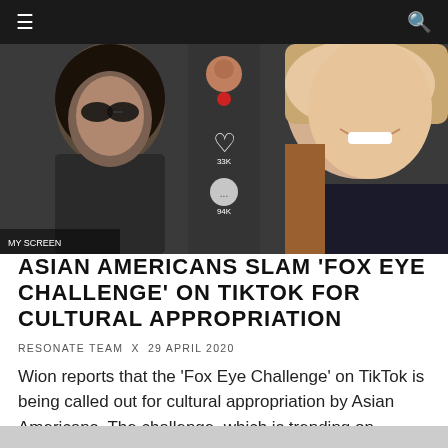≡  🔍
[Figure (photo): A TikTok screenshot showing two women smiling, with TikTok UI overlay including heart icon showing 33K likes and a comment icon.]
ASIAN AMERICANS SLAM 'FOX EYE CHALLENGE' ON TIKTOK FOR CULTURAL APPROPRIATION
RESONATE TEAM x 29 APRIL 2020
Wion reports that the 'Fox Eye Challenge' on TikTok is being called out for cultural appropriation by Asian Americans. The challenge, which is trending on th... READ MORE...